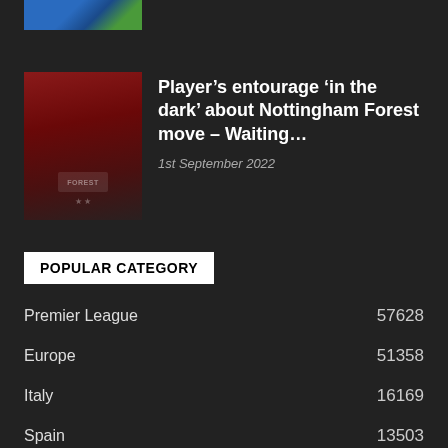[Figure (photo): Partial view of a football player in blue kit on green pitch, cropped at top of page]
[Figure (photo): Nottingham Forest stadium interior showing red seats and the Forest badge]
Player’s entourage ‘in the dark’ about Nottingham Forest move – Waiting…
1st September 2022
POPULAR CATEGORY
Premier League  57628
Europe  51358
Italy  16169
Spain  13503
Manchester United  8801
France  8205
Tottenham Hotspur  6760